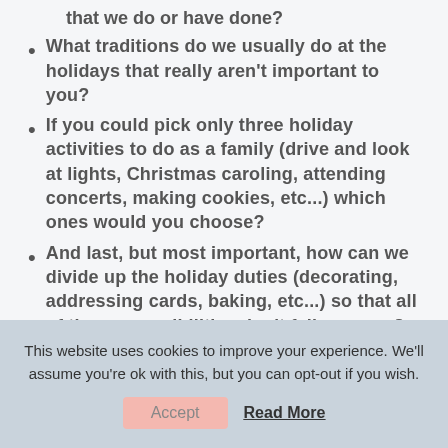that we do or have done?
What traditions do we usually do at the holidays that really aren't important to you?
If you could pick only three holiday activities to do as a family (drive and look at lights, Christmas caroling, attending concerts, making cookies, etc...) which ones would you choose?
And last, but most important, how can we divide up the holiday duties (decorating, addressing cards, baking, etc...) so that all of the responsibilities don't fall on mom?
This website uses cookies to improve your experience. We'll assume you're ok with this, but you can opt-out if you wish.